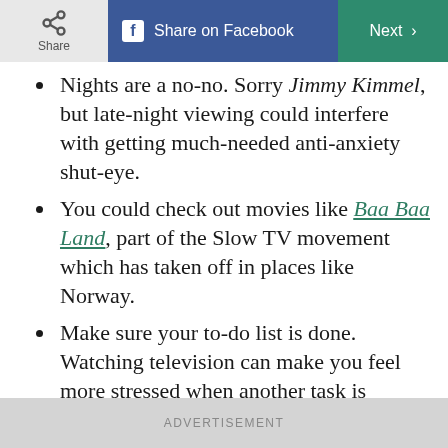Share | Share on Facebook | Next
Nights are a no-no. Sorry Jimmy Kimmel, but late-night viewing could interfere with getting much-needed anti-anxiety shut-eye.
You could check out movies like Baa Baa Land, part of the Slow TV movement which has taken off in places like Norway.
Make sure your to-do list is done. Watching television can make you feel more stressed when another task is competing for your attention.
Stay away from loud, violent, or scary
ADVERTISEMENT